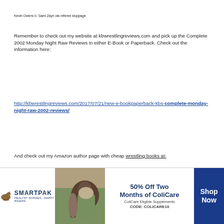Kevin Owens b. Sami Zayn via referee stoppage
Remember to check out my website at kbwrestlingreviews.com and pick up the Complete 2002 Monday Night Raw Reviews in either E-Book or Paperback. Check out the information here:
http://kbwrestlingreviews.com/2017/07/21/new-e-bookpaperback-kbs-complete-monday-night-raw-2002-reviews/
And check out my Amazon author page with cheap wrestling books at:
[Figure (infographic): SmartPak advertisement banner at the bottom of the page: SmartPak logo with horse icon on the left, photo of horse and woman in center-left, '50% Off Two Months of ColiCare, ColiCare Eligible Supplements, CODE: COLICARE10' text in center, 'Shop Now' button on the right. A close (x) button appears at the top-right of the ad.]